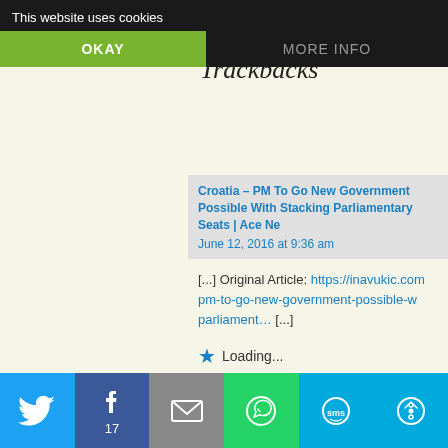Trackbacks
This website uses cookies
OKAY
MORE INFO
Croatia – PM To Go New Government Possible With Stacking Parliamentary Seats | Ace Ne
June 12, 2016 at 9:36 am
[...] Original Article: https://inavukic.com pm-to-go-new-government-possible-w parliament&#8230; [...]
Loading...
Reply
Leave a Reply to inavukic Cancel
Enter your comment here...